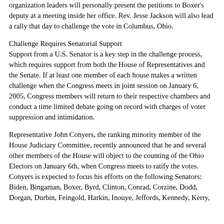organization leaders will personally present the petitions to Boxer's deputy at a meeting inside her office. Rev. Jesse Jackson will also lead a rally that day to challenge the vote in Columbus, Ohio.
Challenge Requires Senatorial Support
Support from a U.S. Senator is a key step in the challenge process, which requires support from both the House of Representatives and the Senate. If at least one member of each house makes a written challenge when the Congress meets in joint session on January 6, 2005, Congress members will return to their respective chambers and conduct a time limited debate going on record with charges of voter suppression and intimidation.
Representative John Conyers, the ranking minority member of the House Judiciary Committee, recently announced that he and several other members of the House will object to the counting of the Ohio Electors on January 6th, when Congress meets to ratify the votes. Conyers is expected to focus his efforts on the following Senators: Biden, Bingaman, Boxer, Byrd, Clinton, Conrad, Corzine, Dodd, Dorgan, Durbin, Feingold, Harkin, Inouye, Jeffords, Kennedy, Kerry,